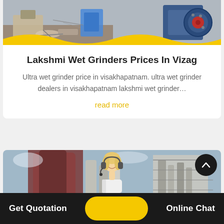[Figure (photo): Industrial machinery/equipment photo at top of card with yellow wave divider]
Lakshmi Wet Grinders Prices In Vizag
Ultra wet grinder price in visakhapatnam. ultra wet grinder dealers in visakhapatnam lakshmi wet grinder…
read more
[Figure (photo): Industrial equipment/machinery photo in second card section]
[Figure (photo): Customer service agent (woman with headset) overlaid on bottom section]
Get Quotation
Online Chat